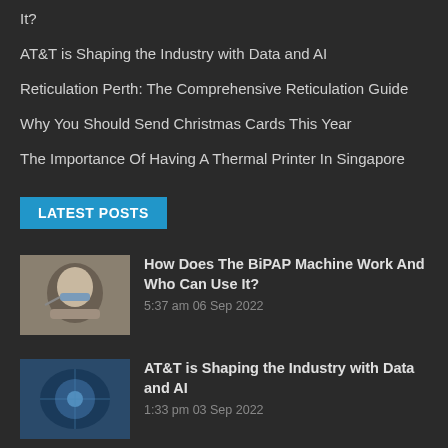It?
AT&T is Shaping the Industry with Data and AI
Reticulation Perth: The Comprehensive Reticulation Guide
Why You Should Send Christmas Cards This Year
The Importance Of Having A Thermal Printer In Singapore
LATEST POSTS
How Does The BiPAP Machine Work And Who Can Use It?
5:37 am 06 Sep 2022
AT&T is Shaping the Industry with Data and AI
1:33 pm 03 Sep 2022